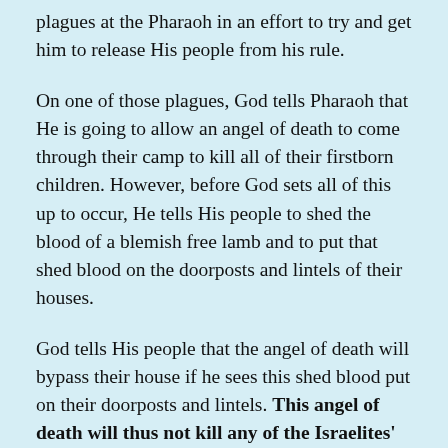plagues at the Pharaoh in an effort to try and get him to release His people from his rule.
On one of those plagues, God tells Pharaoh that He is going to allow an angel of death to come through their camp to kill all of their firstborn children. However, before God sets all of this up to occur, He tells His people to shed the blood of a blemish free lamb and to put that shed blood on the doorposts and lintels of their houses.
God tells His people that the angel of death will bypass their house if he sees this shed blood put on their doorposts and lintels. This angel of death will thus not kill any of the Israelites'